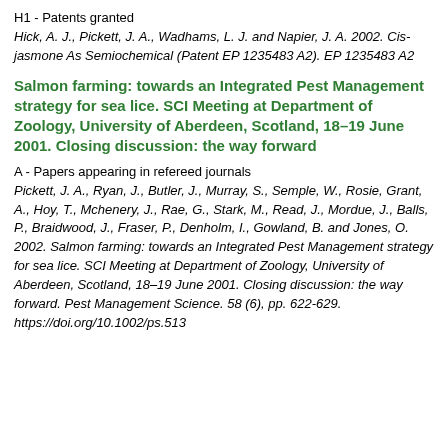H1 - Patents granted
Hick, A. J., Pickett, J. A., Wadhams, L. J. and Napier, J. A. 2002. Cis-jasmone As Semiochemical (Patent EP 1235483 A2). EP 1235483 A2
Salmon farming: towards an Integrated Pest Management strategy for sea lice. SCI Meeting at Department of Zoology, University of Aberdeen, Scotland, 18–19 June 2001. Closing discussion: the way forward
A - Papers appearing in refereed journals
Pickett, J. A., Ryan, J., Butler, J., Murray, S., Semple, W., Rosie, Grant, A., Hoy, T., Mchenery, J., Rae, G., Stark, M., Read, J., Mordue, J., Balls, P., Braidwood, J., Fraser, P., Denholm, I., Gowland, B. and Jones, O. 2002. Salmon farming: towards an Integrated Pest Management strategy for sea lice. SCI Meeting at Department of Zoology, University of Aberdeen, Scotland, 18–19 June 2001. Closing discussion: the way forward. Pest Management Science. 58 (6), pp. 622-629. https://doi.org/10.1002/ps.513